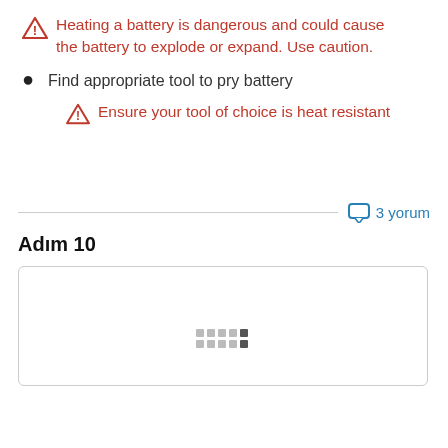Heating a battery is dangerous and could cause the battery to explode or expand. Use caution.
Find appropriate tool to pry battery
Ensure your tool of choice is heat resistant
3 yorum
Adım 10
[Figure (photo): Step 10 image placeholder with loading dots pattern]